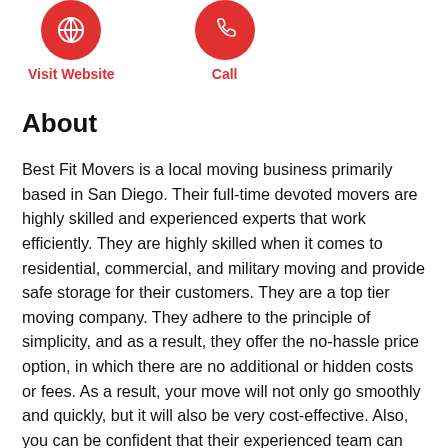[Figure (illustration): Two red circular icon buttons — a globe/website icon and a phone icon — with labels 'Visit Website' and 'Call' underneath in red text]
About
Best Fit Movers is a local moving business primarily based in San Diego. Their full-time devoted movers are highly skilled and experienced experts that work efficiently. They are highly skilled when it comes to residential, commercial, and military moving and provide safe storage for their customers. They are a top tier moving company. They adhere to the principle of simplicity, and as a result, they offer the no-hassle price option, in which there are no additional or hidden costs or fees. As a result, your move will not only go smoothly and quickly, but it will also be very cost-effective. Also, you can be confident that their experienced team can handle various things, from large pieces of fine art, delicate crystal, and delicate antiques to complex modern electronics and computers with the gentle touch required by these items.